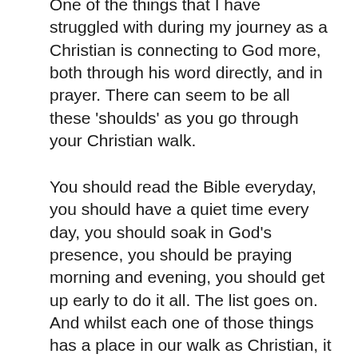One of the things that I have struggled with during my journey as a Christian is connecting to God more, both through his word directly, and in prayer. There can seem to be all these 'shoulds' as you go through your Christian walk.
You should read the Bible everyday, you should have a quiet time every day, you should soak in God's presence, you should be praying morning and evening, you should get up early to do it all. The list goes on. And whilst each one of those things has a place in our walk as Christian, it took me a long time to realise that there are no 'shoulds' with God, there are only invitations and opportunities presented. We are after all made unique, that means each of our walks will be unique, there isn't a one size fits all. Often it's the smallest change that you make in your walk that creates the biggest impact. A change that is easily manageable day to day. For me this involved adding prayer and movement together and recognising